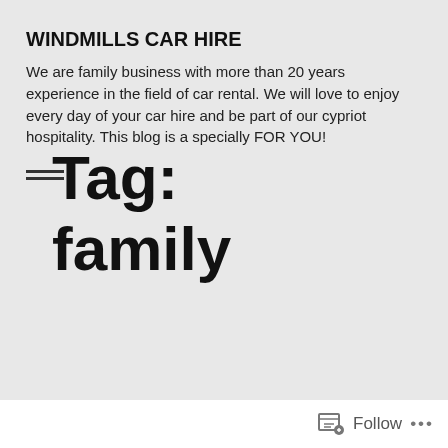WINDMILLS CAR HIRE
We are family business with more than 20 years experience in the field of car rental. We will love to enjoy every day of your car hire and be part of our cypriot hospitality. This blog is a specially FOR YOU!
[Figure (other): Hamburger menu icon with two horizontal lines]
Tag: family
Follow ...